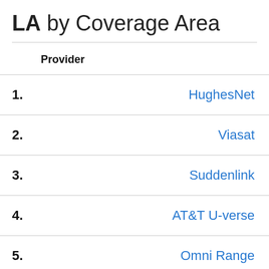LA by Coverage Area
|  | Provider |
| --- | --- |
| 1. | HughesNet |
| 2. | Viasat |
| 3. | Suddenlink |
| 4. | AT&T U-verse |
| 5. | Omni Range |